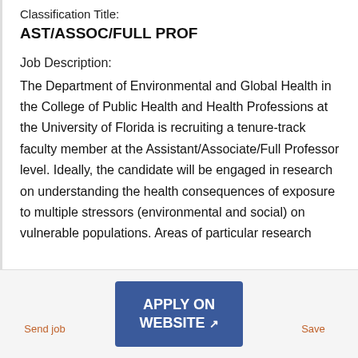Classification Title:
AST/ASSOC/FULL PROF
Job Description:
The Department of Environmental and Global Health in the College of Public Health and Health Professions at the University of Florida is recruiting a tenure-track faculty member at the Assistant/Associate/Full Professor level. Ideally, the candidate will be engaged in research on understanding the health consequences of exposure to multiple stressors (environmental and social) on vulnerable populations. Areas of particular research
Send job | APPLY ON WEBSITE | Save